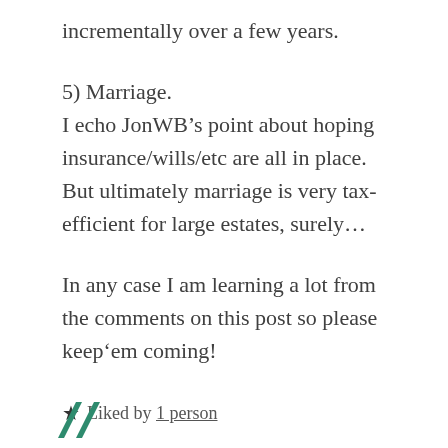incrementally over a few years.
5) Marriage.
I echo JonWB’s point about hoping insurance/wills/etc are all in place. But ultimately marriage is very tax-efficient for large estates, surely…
In any case I am learning a lot from the comments on this post so please keep’em coming!
★ Liked by 1person